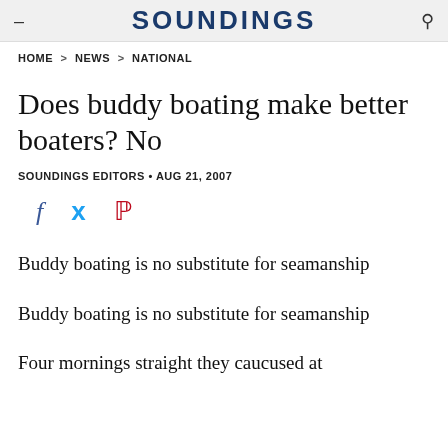SOUNDINGS
HOME > NEWS > NATIONAL
Does buddy boating make better boaters? No
SOUNDINGS EDITORS · AUG 21, 2007
Buddy boating is no substitute for seamanship
Buddy boating is no substitute for seamanship
Four mornings straight they caucused at